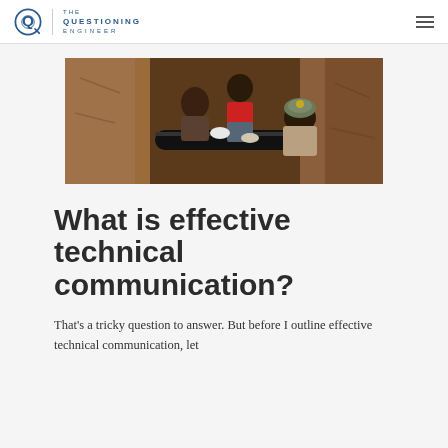THE QUESTIONING ENGINEER
[Figure (photo): Workers in a trench installing a large black pipe in reddish-brown soil. Three workers visible, one in a red shirt, one in a patterned hat, working together in a deep narrow excavation.]
What is effective technical communication?
That's a tricky question to answer. But before I outline effective technical communication, let